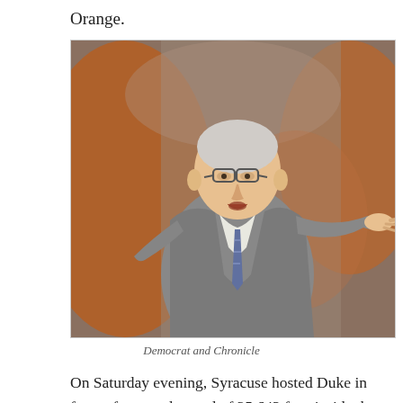Orange.
[Figure (photo): A basketball coach in a grey suit pointing and directing during a game, with blurred orange-clad crowd in the background.]
Democrat and Chronicle
On Saturday evening, Syracuse hosted Duke in front of a record crowd of 35,642 fans inside the Dome—the largest on campus crowd for a college basketball game ever. It was an emotional scene as Boeheim emerged from the tunnel and was greeted by the roar of the